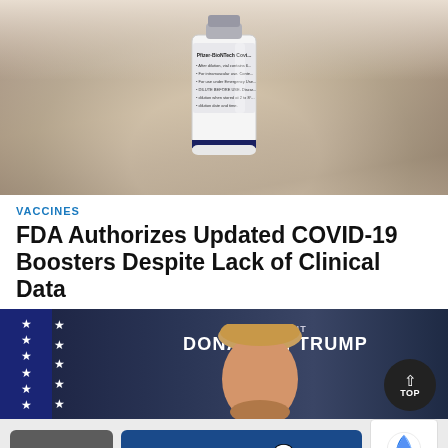[Figure (photo): Close-up photo of a Pfizer-BioNTech COVID vaccine vial on a surface]
VACCINES
FDA Authorizes Updated COVID-19 Boosters Despite Lack of Clinical Data
[Figure (photo): Photo of President Donald J. Trump at a podium with American flag in background, nameplate reading PRESIDENT DONALD J. TRUMP]
Share
Comments